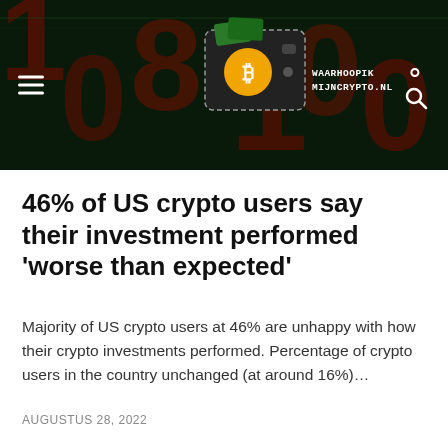[Figure (screenshot): Website header banner with dark background showing crypto/numbers theme, featuring a Bitcoin wallet logo and site name WAARHOOPIKMIIJNCRYPTO.NL, hamburger menu on left and search icon on right]
46% of US crypto users say their investment performed 'worse than expected'
Majority of US crypto users at 46% are unhappy with how their crypto investments performed. Percentage of crypto users in the country unchanged (at around 16%)…
AUGUSTUS 28, 2022
Lees meer